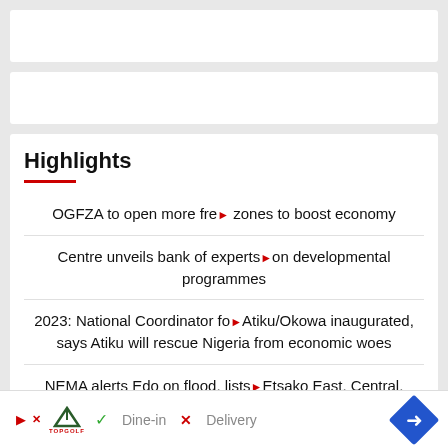[Figure (other): Top advertisement banner (white rectangle)]
[Figure (other): Middle advertisement banner (white rectangle)]
Highlights
OGFZA to open more free zones to boost economy
Centre unveils bank of experts on developmental programmes
2023: National Coordinator for Atiku/Okowa inaugurated, says Atiku will rescue Nigeria from economic woes
NEMA alerts Edo on flood, lists Etsako East, Central, Esan South-East as more prone areas
[Figure (other): Topgolf advertisement footer banner with Dine-in, Delivery options and navigation arrow]